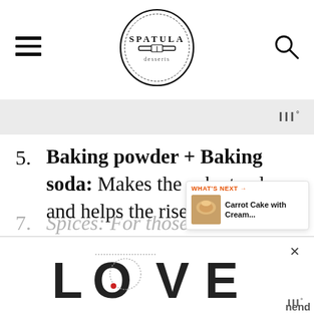Spatula Desserts
5. Baking powder + Baking soda: Makes the cake tender and helps the rise
6. Salt: We always need at least a pinch of salt in any cake batter to balance the flavors
7. Spices: For those individual...